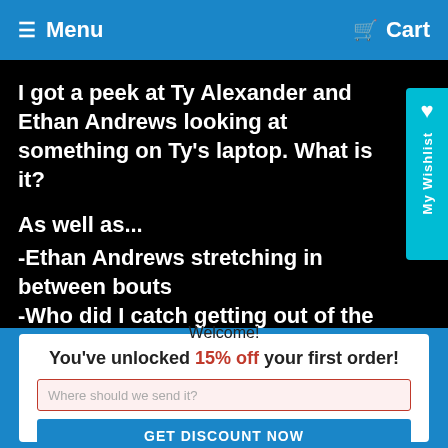≡ Menu   🛒 Cart
I got a peek at Ty Alexander and Ethan Andrews looking at something on Ty's laptop. What is it?

As well as...
-Ethan Andrews stretching in between bouts
-Who did I catch getting out of the shower?
Welcome!
You've unlocked 15% off your first order!
Where should we send it?
GET DISCOUNT NOW